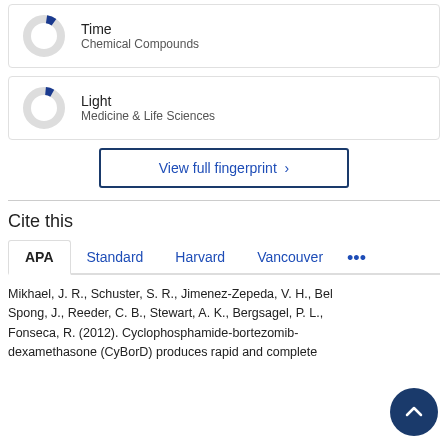[Figure (donut-chart): Small donut chart with a small dark blue segment indicating low percentage for Time / Chemical Compounds]
[Figure (donut-chart): Small donut chart with a small dark blue segment indicating low percentage for Light / Medicine & Life Sciences]
View full fingerprint >
Cite this
APA  Standard  Harvard  Vancouver  ...
Mikhael, J. R., Schuster, S. R., Jimenez-Zepeda, V. H., Bel... Spong, J., Reeder, C. B., Stewart, A. K., Bergsagel, P. L., Fonseca, R. (2012). Cyclophosphamide-bortezomib-dexamethasone (CyBorD) produces rapid and complete